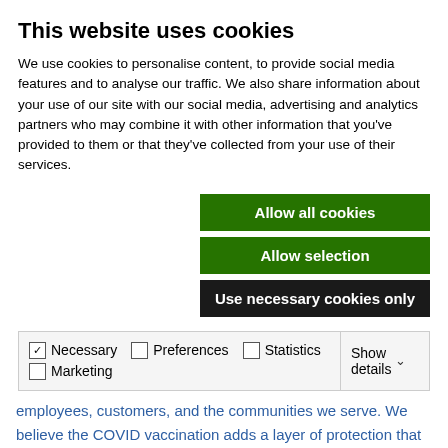This website uses cookies
We use cookies to personalise content, to provide social media features and to analyse our traffic. We also share information about your use of our site with our social media, advertising and analytics partners who may combine it with other information that you've provided to them or that they've collected from your use of their services.
Allow all cookies
Allow selection
Use necessary cookies only
| ✓ Necessary | ☐ Preferences | ☐ Statistics | Show details ∨ |
| ☐ Marketing |  |  |  |
Instagram
Facebook
YouTube
Sonepar is committed to providing a safe environment for our employees, customers, and the communities we serve. We believe the COVID vaccination adds a layer of protection that complements the extensive and necessary health and safety protocols that we have taken to date. In order to be considered